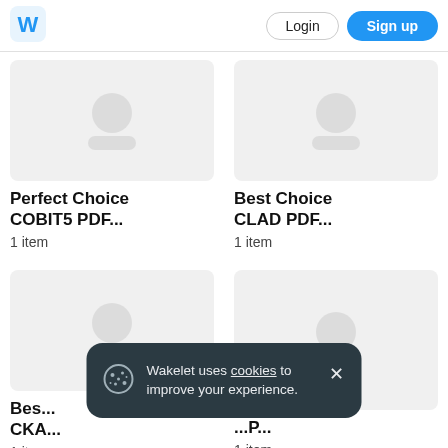[Figure (logo): Wakelet W logo in blue]
Login
Sign up
[Figure (illustration): Placeholder thumbnail for Perfect Choice COBIT5 PDF collection]
Perfect Choice COBIT5 PDF...
1 item
[Figure (illustration): Placeholder thumbnail for Best Choice CLAD PDF collection]
Best Choice CLAD PDF...
1 item
[Figure (illustration): Placeholder thumbnail for Best Choice CKA collection]
Bes... CKA...
1 item
[Figure (illustration): Placeholder thumbnail for fourth collection ending in P...]
...P...
1 item
Wakelet uses cookies to improve your experience.